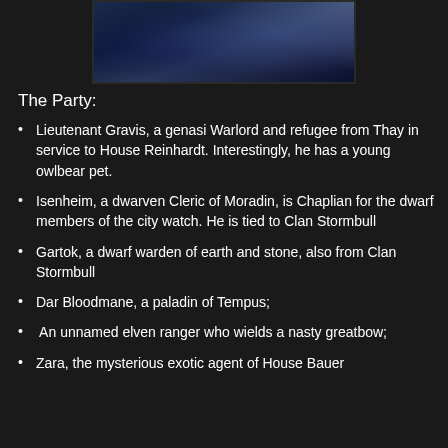[Figure (photo): Dark blue fantasy/oceanic image with swirling waves or clouds against a dark background, framed with a dark border]
The Party:
Lieutenant Gravis, a genasi Warlord and refugee from Thay in service to House Reinhardt. Interestingly, he has a young owlbear pet.
Isenheim, a dwarven Cleric of Moradin, is Chaplian for the dwarf members of the city watch. He is tied to Clan Stormbull
Gartok, a dwarf warden of earth and stone, also from Clan Stormbull
Dar Bloodmane, a paladin of Tempus;
An unnamed elven ranger who wields a nasty greatbow;
Zara, the mysterious exotic agent of House Bauer